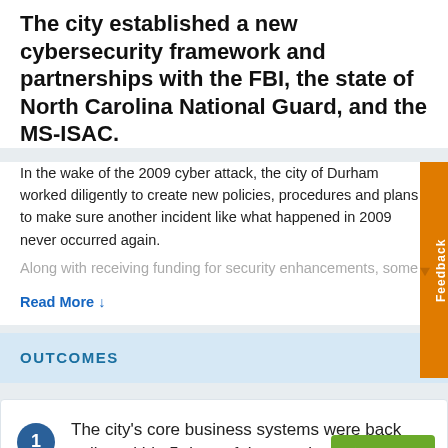The city established a new cybersecurity framework and partnerships with the FBI, the state of North Carolina National Guard, and the MS-ISAC.
In the wake of the 2009 cyber attack, the city of Durham worked diligently to create new policies, procedures and plans to make sure another incident like what happened in 2009 never occurred again.
Along with receiving funding for security enhancements, some
Read More ↓
OUTCOMES
The city's core business systems were back online within 5 days of the attack